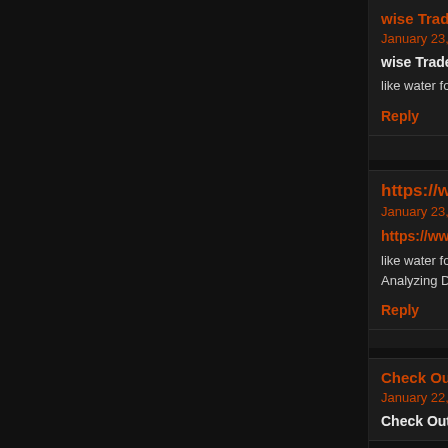wise Trader says: January 23, 2021 at 3:09 am
wise Trader
like water for chocolate » Assignments
Reply
https://www.theodysseyonline.com says: January 23, 2021 at 1:20 am
https://www.theodysseyonline.com
like water for chocolate » Blog Archive » Methodologi Analyzing Digital Media Sources
Reply
Check Out shhcinc.com says: January 22, 2021 at 4:06 pm
Check Out shhcinc.com
like water for chocolate » Blog Archive » Methodologi Analyzing Digital Media Sources
Reply